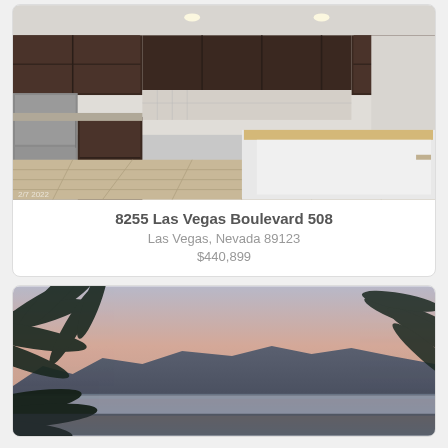[Figure (photo): Interior kitchen photo showing dark wood cabinets, stainless steel appliances, tile flooring, and a white kitchen island with butcher block countertop]
8255 Las Vegas Boulevard 508
Las Vegas, Nevada 89123
$440,899
[Figure (photo): Outdoor dusk/sunset photo showing a mountain range silhouette with pink and blue sky, palm tree fronds in the foreground, likely a Las Vegas view]